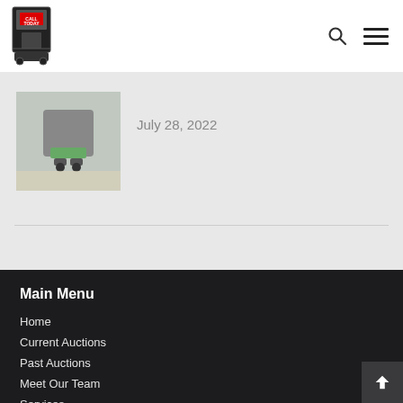Call Today [logo with hamburger menu and search icon]
[Figure (photo): Thumbnail image of a floor cleaning/scrubbing machine on a light floor]
July 28, 2022
Main Menu
Home
Current Auctions
Past Auctions
Meet Our Team
Services